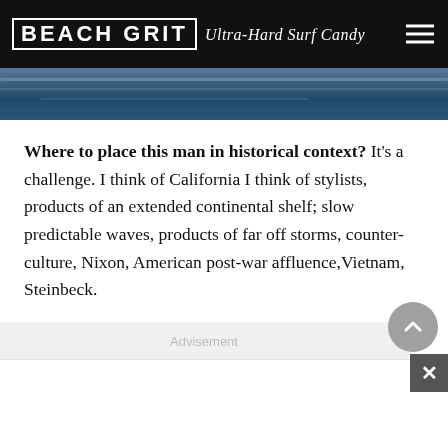BEACH GRIT Ultra-Hard Surf Candy
[Figure (photo): Ocean water surface with dark blue waves and white foam highlights]
Where to place this man in historical context? It's a challenge. I think of California I think of stylists, products of an extended continental shelf; slow predictable waves, products of far off storms, counter-culture, Nixon, American post-war affluence,Vietnam, Steinbeck.
I think of Ryan Burch, Tom Curren, Joni Mitchell, whom Nat Young's Mum is a doppelganger for.
Advisement